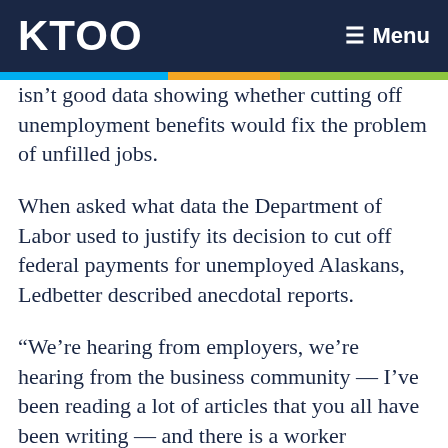KTOO  ≡ Menu
isn't good data showing whether cutting off unemployment benefits would fix the problem of unfilled jobs.
When asked what data the Department of Labor used to justify its decision to cut off federal payments for unemployed Alaskans, Ledbetter described anecdotal reports.
“We’re hearing from employers, we’re hearing from the business community — I’ve been reading a lot of articles that you all have been writing — and there is a worker shortage,” she said. “We want a strong economy and that’s